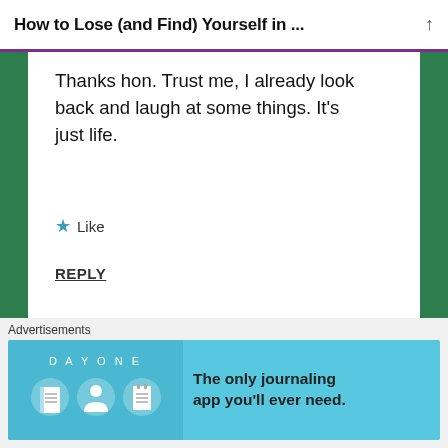How to Lose (and Find) Yourself in ...
Thanks hon. Trust me, I already look back and laugh at some things. It’s just life.
★ Like
REPLY
D.A   13TH OCT 2017 AT 6:53 PM
[Figure (infographic): Day One journaling app advertisement banner with teal background, icons of a journal, person, and notepad, text: The only journaling app you'll ever need.]
Advertisements